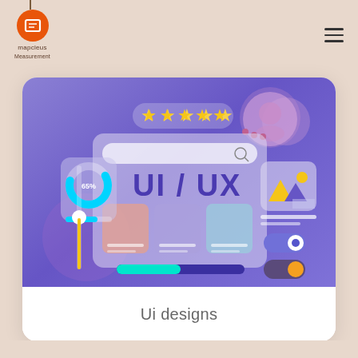mapcleus — logo and navigation header
[Figure (illustration): UI/UX design illustration showing a purple-themed browser window mockup with stars rating, search bar, UI/UX text, cards, sliders, toggles, progress bar, donut chart at 65%, and a profile icon. Set on a purple gradient background.]
Ui designs